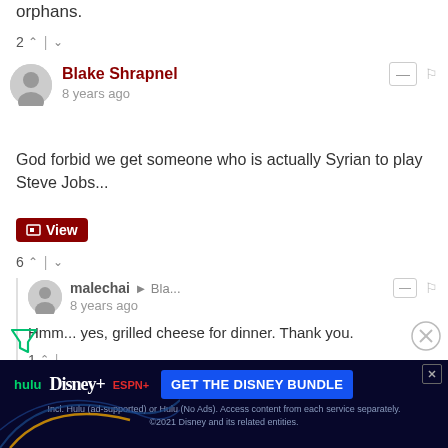orphans.
2 ↑ | ↓
Blake Shrapnel
8 years ago
God forbid we get someone who is actually Syrian to play Steve Jobs...
View
6 ↑ | ↓
malechai → Bla...
8 years ago
Hmm... yes, grilled cheese for dinner. Thank you.
1 ↑ | ↓
Drake
[Figure (infographic): Disney Bundle ad banner: Hulu, Disney+, ESPN+ logos with 'GET THE DISNEY BUNDLE' CTA button on dark navy background]